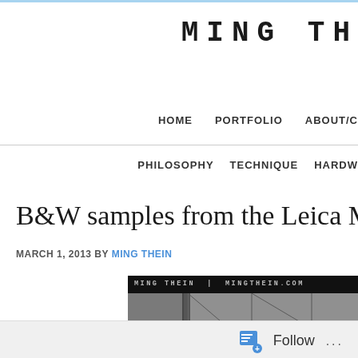MING TH
HOME   PORTFOLIO   ABOUT/C
PHILOSOPHY   TECHNIQUE   HARDW
B&W samples from the Leica M
MARCH 1, 2013 BY MING THEIN
[Figure (photo): Black and white photograph of a concrete building facade with drainage pipe and window, watermarked with MING THEIN | MINGTHEIN.COM]
Follow ...